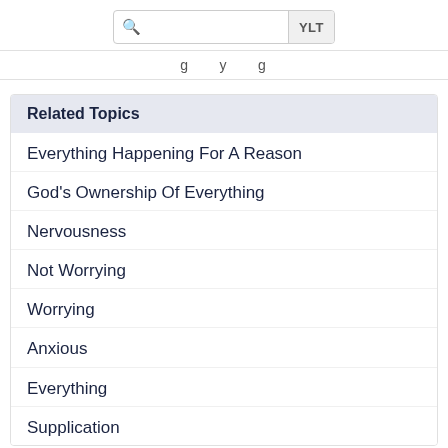YLT
g y g
Related Topics
Everything Happening For A Reason
God's Ownership Of Everything
Nervousness
Not Worrying
Worrying
Anxious
Everything
Supplication